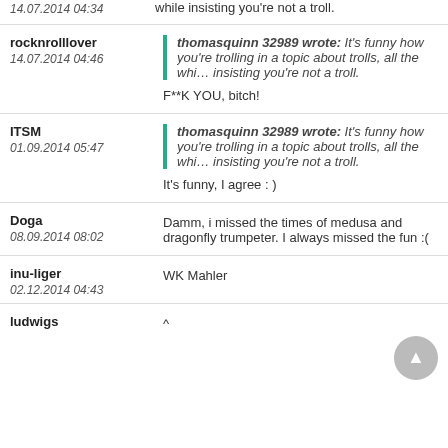14.07.2014 04:34 | while insisting you're not a troll.
rocknrolllover
14.07.2014 04:46
thomасquinn 32989 wrote: It's funny how you're trolling in a topic about trolls, all the while insisting you're not a troll.
F**K YOU, bitch!
ITSM
01.09.2014 05:47
thomasquinn 32989 wrote: It's funny how you're trolling in a topic about trolls, all the while insisting you're not a troll.
It's funny, I agree : )
Doga
08.09.2014 08:02
Damm, i missed the times of medusa and dragonfly trumpeter. I always missed the fun :(
inu-liger
02.12.2014 04:43
WK Mahler
ludwigs
^